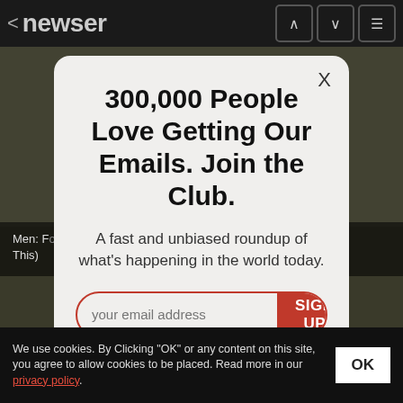< newser
[Figure (screenshot): Blurred dark background showing a Newser mobile app page with article content partially visible]
Men: Forget the Blue Pill, This Beats Your Ed Like Crazy! (Do This)
300,000 People Love Getting Our Emails. Join the Club.
A fast and unbiased roundup of what's happening in the world today.
your email address  SIGN UP
We use cookies. By Clicking "OK" or any content on this site, you agree to allow cookies to be placed. Read more in our privacy policy.